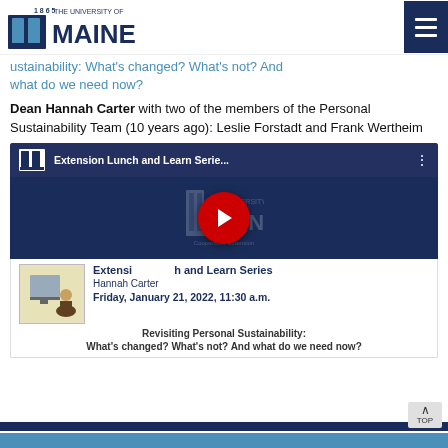University of Maine - navigation header
ustainability: What's changed? What's not? And what do we need now?
Dean Hannah Carter with two of the members of the Personal Sustainability Team (10 years ago): Leslie Forstadt and Frank Wertheim
[Figure (screenshot): Embedded YouTube video player showing Extension Lunch and Learn Series with UMaine logo and red play button overlay. Below the player is a video card with thumbnail, title 'Extension Lunch and Learn Series', presenter 'Hannah Carter', date 'Friday, January 21, 2022, 11:30 a.m.' and description 'Revisiting Personal Sustainability: What's changed? What's not? And what do we need now?']